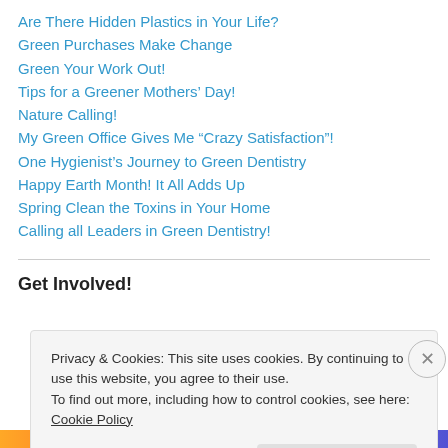Are There Hidden Plastics in Your Life?
Green Purchases Make Change
Green Your Work Out!
Tips for a Greener Mothers’ Day!
Nature Calling!
My Green Office Gives Me “Crazy Satisfaction”!
One Hygienist’s Journey to Green Dentistry
Happy Earth Month! It All Adds Up
Spring Clean the Toxins in Your Home
Calling all Leaders in Green Dentistry!
Get Involved!
Privacy & Cookies: This site uses cookies. By continuing to use this website, you agree to their use.
To find out more, including how to control cookies, see here: Cookie Policy
Close and accept